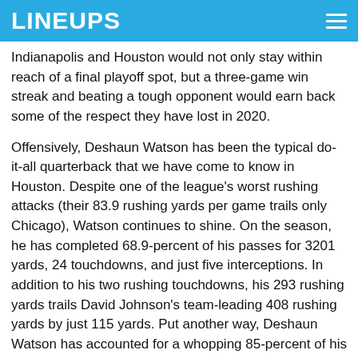LINEUPS
Indianapolis and Houston would not only stay within reach of a final playoff spot, but a three-game win streak and beating a tough opponent would earn back some of the respect they have lost in 2020.
Offensively, Deshaun Watson has been the typical do-it-all quarterback that we have come to know in Houston. Despite one of the league's worst rushing attacks (their 83.9 rushing yards per game trails only Chicago), Watson continues to shine. On the season, he has completed 68.9-percent of his passes for 3201 yards, 24 touchdowns, and just five interceptions. In addition to his two rushing touchdowns, his 293 rushing yards trails David Johnson's team-leading 408 rushing yards by just 115 yards. Put another way, Deshaun Watson has accounted for a whopping 85-percent of his team's yards on offense. For reference, fellow AFC South quarterback Ryan Tannehill's mark is at just 64-percent. The offense, already without David Johnson, took another big